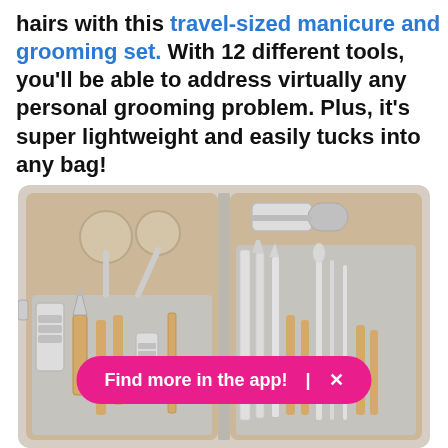hairs with this travel-sized manicure and grooming set. With 12 different tools, you'll be able to address virtually any personal grooming problem. Plus, it's super lightweight and easily tucks into any bag!
[Figure (photo): Open travel-sized manicure and grooming set case showing 12 metal tools including nail clippers, cuticle pushers, scissors, and files arranged in a rose-gold patterned case with grey interior]
Find more in the app!  ×